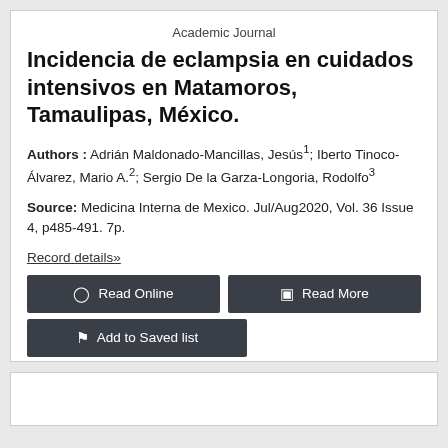Academic Journal
Incidencia de eclampsia en cuidados intensivos en Matamoros, Tamaulipas, México.
Authors : Adrián Maldonado-Mancillas, Jesús¹; Iberto Tinoco-Álvarez, Mario A.²; Sergio De la Garza-Longoria, Rodolfo³
Source: Medicina Interna de Mexico. Jul/Aug2020, Vol. 36 Issue 4, p485-491. 7p.
Record details»
Read Online
Read More
Add to Saved list